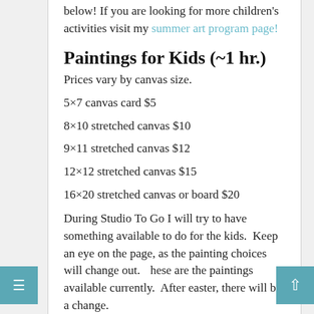below! If you are looking for more children's activities visit my summer art program page!
Paintings for Kids (~1 hr.)
Prices vary by canvas size.
5×7 canvas card $5
8×10 stretched canvas $10
9×11 stretched canvas $12
12×12 stretched canvas $15
16×20 stretched canvas or board $20
During Studio To Go I will try to have something available to do for the kids.  Keep an eye on the page, as the painting choices will change out. These are the paintings available currently.  After easter, there will be a change.